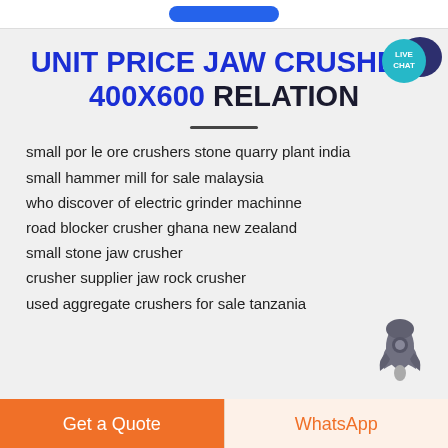UNIT PRICE JAW CRUSHER 400X600 RELATION
small por le ore crushers stone quarry plant india
small hammer mill for sale malaysia
who discover of electric grinder machinne
road blocker crusher ghana new zealand
small stone jaw crusher
crusher supplier jaw rock crusher
used aggregate crushers for sale tanzania